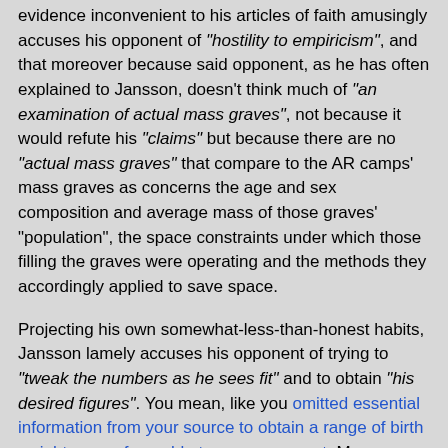evidence inconvenient to his articles of faith amusingly accuses his opponent of "hostility to empiricism", and that moreover because said opponent, as he has often explained to Jansson, doesn't think much of "an examination of actual mass graves", not because it would refute his "claims" but because there are no "actual mass graves" that compare to the AR camps' mass graves as concerns the age and sex composition and average mass of those graves' "population", the space constraints under which those filling the graves were operating and the methods they accordingly applied to save space.
Projecting his own somewhat-less-than-honest habits, Jansson lamely accuses his opponent of trying to "tweak the numbers as he sees fit" and to obtain "his desired figures". You mean, like you omitted essential information from your source to obtain a range of birth weights more favorable to your argument, Mr. Jansson? Or like you kept silent about a) the figures of Young, Marsland and Smith's carcass mass per volume projections and b) the reasons given by these authors for differences between their projections and (some) practical experience?